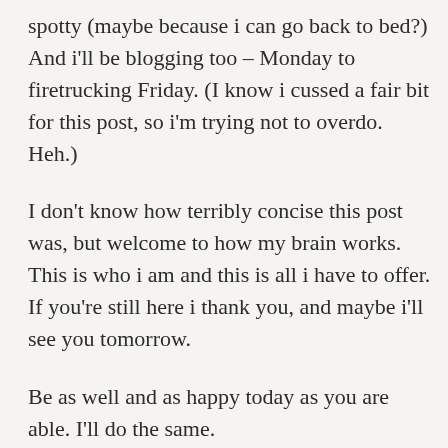spotty (maybe because i can go back to bed?) And i'll be blogging too – Monday to firetrucking Friday. (I know i cussed a fair bit for this post, so i'm trying not to overdo. Heh.)
I don't know how terribly concise this post was, but welcome to how my brain works. This is who i am and this is all i have to offer. If you're still here i thank you, and maybe i'll see you tomorrow.
Be as well and as happy today as you are able. I'll do the same.
It's a lot like swimming first time over your head
It gets easier when you move your arms and legs